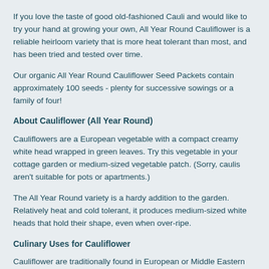If you love the taste of good old-fashioned Cauli and would like to try your hand at growing your own, All Year Round Cauliflower is a reliable heirloom variety that is more heat tolerant than most, and has been tried and tested over time.
Our organic All Year Round Cauliflower Seed Packets contain approximately 100 seeds - plenty for successive sowings or a family of four!
About Cauliflower (All Year Round)
Cauliflowers are a European vegetable with a compact creamy white head wrapped in green leaves. Try this vegetable in your cottage garden or medium-sized vegetable patch. (Sorry, caulis aren't suitable for pots or apartments.)
The All Year Round variety is a hardy addition to the garden.  Relatively heat and cold tolerant, it produces medium-sized white heads that hold their shape, even when over-ripe.
Culinary Uses for Cauliflower
Cauliflower are traditionally found in European or Middle Eastern cuisine